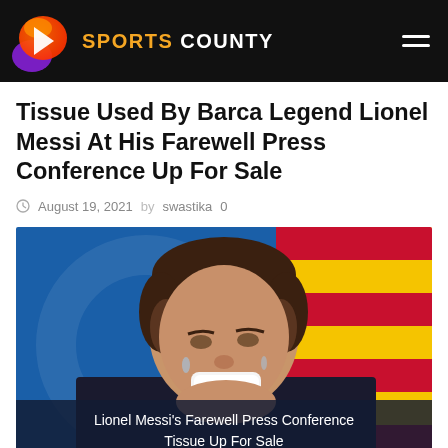SPORTS COUNTY
Tissue Used By Barca Legend Lionel Messi At His Farewell Press Conference Up For Sale
August 19, 2021   by swastika   0
[Figure (photo): Lionel Messi holding a tissue to his face, crying at his farewell press conference, with FC Barcelona crest and Catalan flag in the background]
Lionel Messi's Farewell Press Conference Tissue Up For Sale